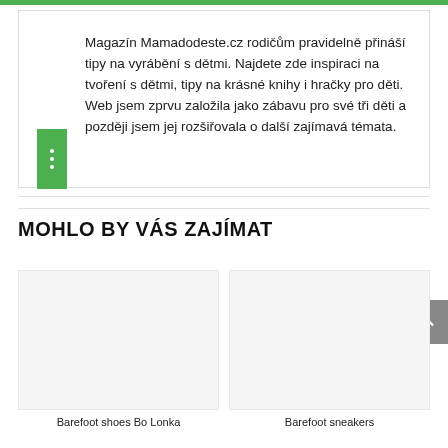Magazín Mamadodeste.cz rodičům pravidelně přináší tipy na vyrábění s dětmi. Najdete zde inspiraci na tvoření s dětmi, tipy na krásné knihy i hračky pro děti. Web jsem zprvu založila jako zábavu pro své tři děti a později jsem jej rozšiřovala o další zajímavá témata.
MOHLO BY VÁS ZAJÍMAT
Barefoot shoes Bo Lonka   Barefoot sneakers